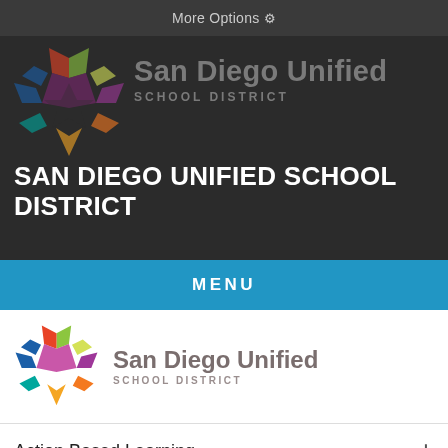More Options ⚙
[Figure (logo): San Diego Unified School District logo (star/pinwheel in dark header) with name 'San Diego Unified SCHOOL DISTRICT' in grey]
SAN DIEGO UNIFIED SCHOOL DISTRICT
MENU
[Figure (logo): San Diego Unified School District logo (colorful star/pinwheel) with name 'San Diego Unified SCHOOL DISTRICT' on white background]
Action Based Learning